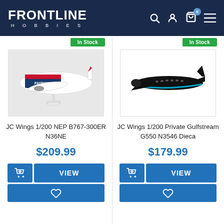Frontline Hobbies
[Figure (screenshot): Product listing page from Frontline Hobbies website showing two model airplane products: JC Wings 1/200 NEP B767-300ER N36NE at $209.99 and JC Wings 1/200 Private Gulfstream G550 N3546 Dieca at $179.99]
In Stock
In Stock
JC Wings 1/200 NEP B767-300ER N36NE
$209.99
JC Wings 1/200 Private Gulfstream G550 N3546 Dieca
$179.99